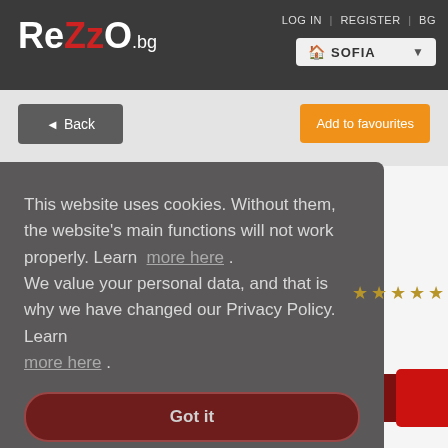ReZzO.bg — LOG IN | REGISTER | BG — SOFIA
Back
Add to favourites
This website uses cookies. Without them, the website's main functions will not work properly. Learn more here . We value your personal data, and that is why we have changed our Privacy Policy. Learn more here .
Got it
RESERVE TABLE
(the prices are exemplary)